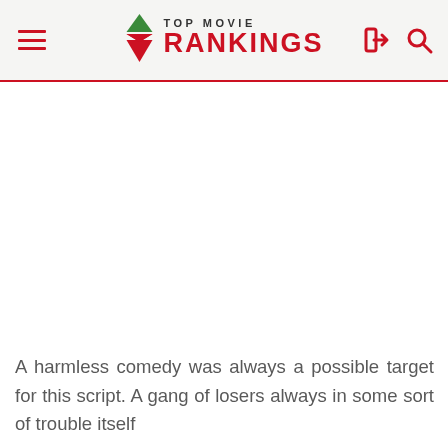TOP MOVIE RANKINGS
A harmless comedy was always a possible target for this script. A gang of losers always in some sort of trouble itself